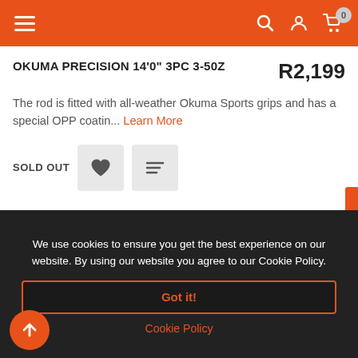Navigation bar with menu, search, account, and cart icons
OKUMA PRECISION 14'0" 3PC 3-50Z
The rod is fitted with all-weather Okuma Sports grips and has a special OPP coatin... Learn More
SOLD OUT
We use cookies to ensure you get the best experience on our website. By using our website you agree to our Cookie Policy.
Got it!
Cookie Policy